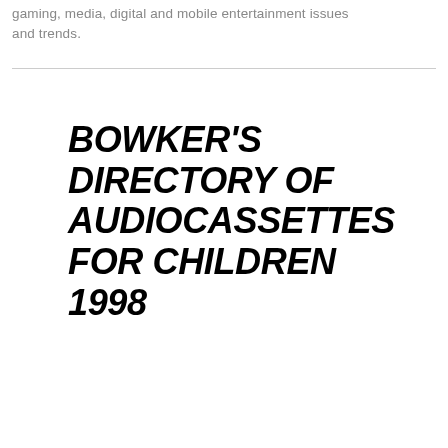gaming, media, digital and mobile entertainment issues and trends.
BOWKER'S DIRECTORY OF AUDIOCASSETTES FOR CHILDREN 1998